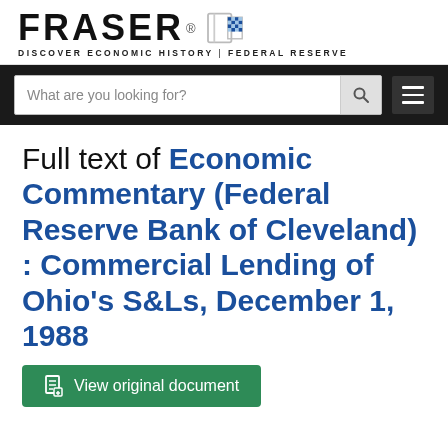FRASER — DISCOVER ECONOMIC HISTORY | FEDERAL RESERVE
[Figure (screenshot): FRASER website navigation bar with search box placeholder 'What are you looking for?' and hamburger menu icon]
Full text of Economic Commentary (Federal Reserve Bank of Cleveland) : Commercial Lending of Ohio's S&Ls, December 1, 1988
View original document